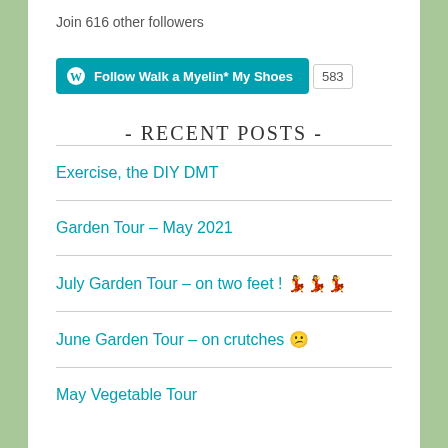Join 616 other followers
[Figure (other): WordPress Follow button with 'Follow Walk a Myelin* My Shoes' text and follower count badge showing 583]
- RECENT POSTS -
Exercise, the DIY DMT
Garden Tour – May 2021
July Garden Tour – on two feet ! 💃💃💃
June Garden Tour – on crutches 😕
May Vegetable Tour